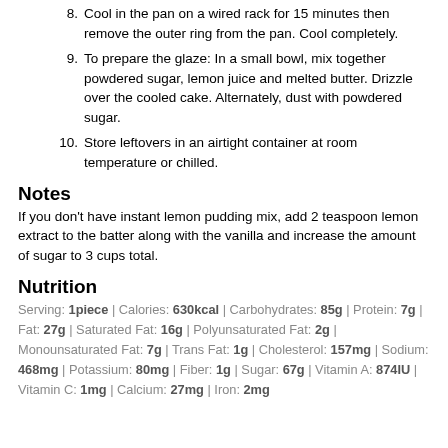8. Cool in the pan on a wired rack for 15 minutes then remove the outer ring from the pan. Cool completely.
9. To prepare the glaze: In a small bowl, mix together powdered sugar, lemon juice and melted butter. Drizzle over the cooled cake. Alternately, dust with powdered sugar.
10. Store leftovers in an airtight container at room temperature or chilled.
Notes
If you don't have instant lemon pudding mix, add 2 teaspoon lemon extract to the batter along with the vanilla and increase the amount of sugar to 3 cups total.
Nutrition
Serving: 1piece | Calories: 630kcal | Carbohydrates: 85g | Protein: 7g | Fat: 27g | Saturated Fat: 16g | Polyunsaturated Fat: 2g | Monounsaturated Fat: 7g | Trans Fat: 1g | Cholesterol: 157mg | Sodium: 468mg | Potassium: 80mg | Fiber: 1g | Sugar: 67g | Vitamin A: 874IU | Vitamin C: 1mg | Calcium: 27mg | Iron: 2mg